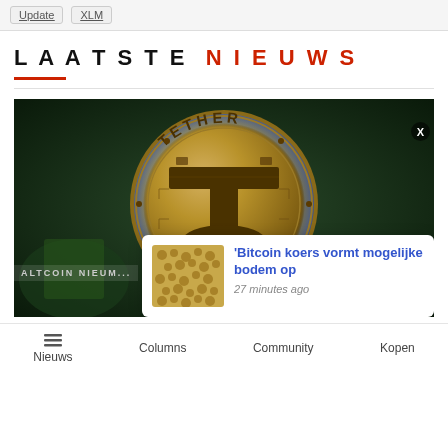Update  XLM
Laatste Nieuws
[Figure (photo): Close-up photo of a gold Tether (USDT) coin showing the Tether logo with 'digital money for a digital age' inscription around the edge, set against a dark background.]
ALTCOIN NIEUWS
[Figure (photo): Small thumbnail of scattered coins/seeds]
'Bitcoin koers vormt mogelijke bodem op
27 minutes ago
Nieuws  Columns  Community  Kopen